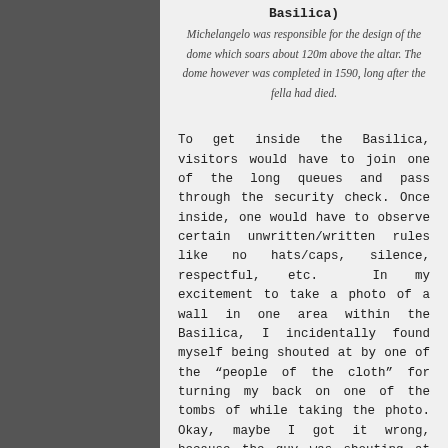Basilica)
Michelangelo was responsible for the design of the dome which soars about 120m above the altar. The dome however was completed in 1590, long after the fella had died.
To get inside the Basilica, visitors would have to join one of the long queues and pass through the security check. Once inside, one would have to observe certain unwritten/written rules like no hats/caps, silence, respectful, etc.  In my excitement to take a photo of a wall in one area within the Basilica, I incidentally found myself being shouted at by one of the “people of the cloth” for turning my back on one of the tombs of while taking the photo. Okay, maybe I got it wrong, because the guy was shouting at me in Italian and I only understand Latin *cough cough* but he kept pointing at me and at the tomb behind me